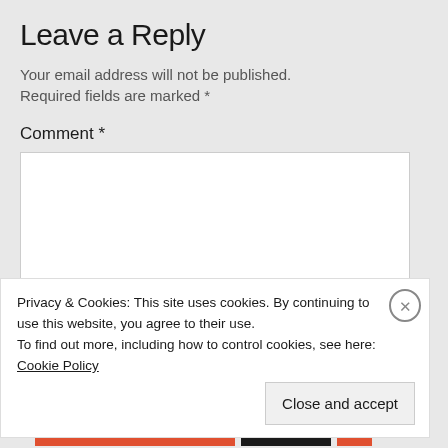Leave a Reply
Your email address will not be published.
Required fields are marked *
Comment *
[Figure (other): Empty comment text area input box]
Privacy & Cookies: This site uses cookies. By continuing to use this website, you agree to their use.
To find out more, including how to control cookies, see here: Cookie Policy
Close and accept